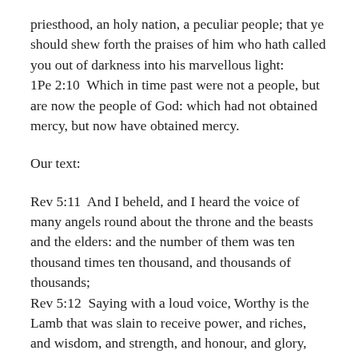priesthood, an holy nation, a peculiar people; that ye should shew forth the praises of him who hath called you out of darkness into his marvellous light:
1Pe 2:10  Which in time past were not a people, but are now the people of God: which had not obtained mercy, but now have obtained mercy.
Our text:
Rev 5:11  And I beheld, and I heard the voice of many angels round about the throne and the beasts and the elders: and the number of them was ten thousand times ten thousand, and thousands of thousands;
Rev 5:12  Saying with a loud voice, Worthy is the Lamb that was slain to receive power, and riches, and wisdom, and strength, and honour, and glory, and blessing.